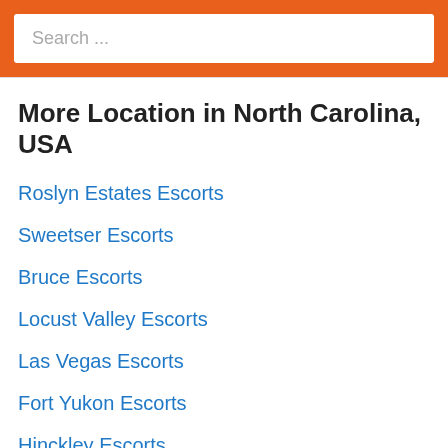[Figure (screenshot): Search input box with orange border background and placeholder text 'Search ...']
More Location in North Carolina, USA
Roslyn Estates Escorts
Sweetser Escorts
Bruce Escorts
Locust Valley Escorts
Las Vegas Escorts
Fort Yukon Escorts
Hinckley Escorts